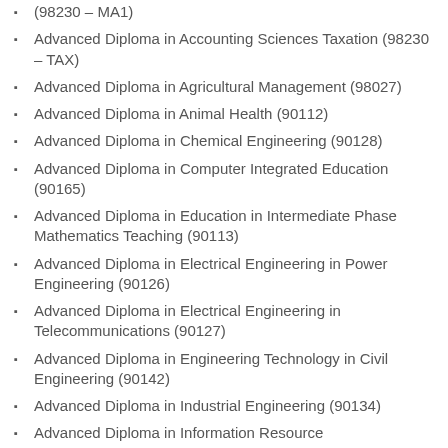(98230 – MA1)
Advanced Diploma in Accounting Sciences Taxation (98230 – TAX)
Advanced Diploma in Agricultural Management (98027)
Advanced Diploma in Animal Health (90112)
Advanced Diploma in Chemical Engineering (90128)
Advanced Diploma in Computer Integrated Education (90165)
Advanced Diploma in Education in Intermediate Phase Mathematics Teaching (90113)
Advanced Diploma in Electrical Engineering in Power Engineering (90126)
Advanced Diploma in Electrical Engineering in Telecommunications (90127)
Advanced Diploma in Engineering Technology in Civil Engineering (90142)
Advanced Diploma in Industrial Engineering (90134)
Advanced Diploma in Information Resource